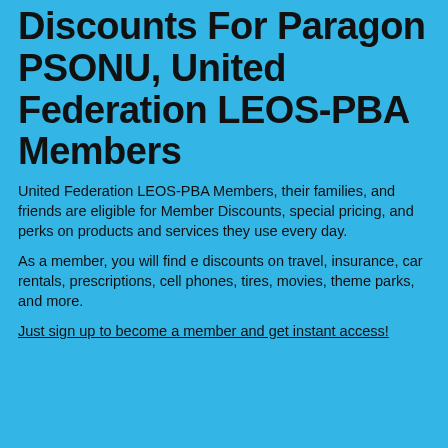Discounts For Paragon PSONU, United Federation LEOS-PBA Members
United Federation LEOS-PBA Members, their families, and friends are eligible for Member Discounts, special pricing, and perks on products and services they use every day.
As a member, you will find e discounts on travel, insurance, car rentals, prescriptions, cell phones, tires, movies, theme parks, and more.
Just sign up to become a member and get instant access!